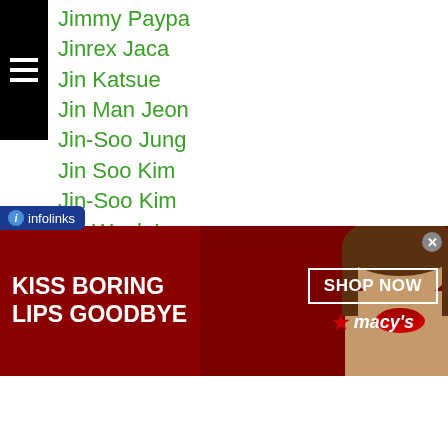Jimmy Paypa
Jinrex Jaca
Jin Katsue
Jin Man Jeon
Jin-Soo Jung
Jin Soo Kim
Jin-Soo Kim
Jin Wook Lee
Jin Wook Lim
Ji Tao
Jk Elorde
Joan Imperial
Joebert Alvarez
Joel Cruny
Joel Dela Cruz
Joel Taduran
[Figure (other): Macy's advertisement banner: red background with woman photo, text 'KISS BORING LIPS GOODBYE', 'SHOP NOW', Macy's star logo]